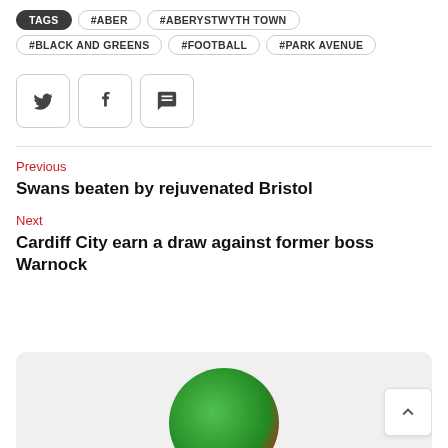TAGS #ABER #ABERYSTWYTH TOWN #BLACK AND GREENS #FOOTBALL #PARK AVENUE
[Figure (other): Social share buttons: Twitter, Facebook, Comment]
Previous
Swans beaten by rejuvenated Bristol
Next
Cardiff City earn a draw against former boss Warnock
[Figure (photo): Partial circular image of a green and red football/soccer ball at bottom of page]